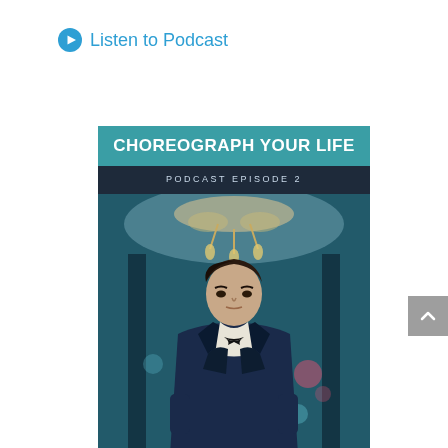Listen to Podcast
[Figure (photo): Podcast cover image for 'Choreograph Your Life' Episode 2 featuring a man in a navy blue velvet tuxedo with bow tie standing in a grand hall with a chandelier above, teal banner with bold white text 'CHOREOGRAPH YOUR LIFE' and subtitle 'PODCAST EPISODE 2']